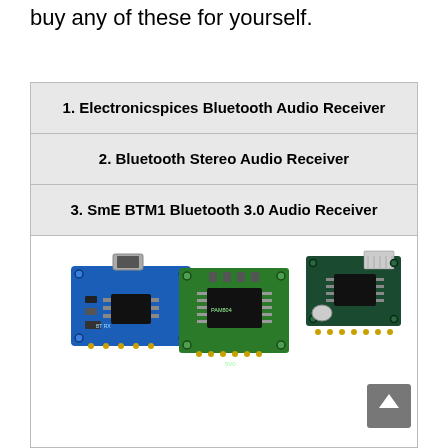Bluetooth receiver boards below, you can buy any of these for yourself.
1. Electronicspices Bluetooth Audio Receiver
2. Bluetooth Stereo Audio Receiver
3. SmE BTM1 Bluetooth 3.0 Audio Receiver
[Figure (photo): Three Bluetooth audio receiver circuit boards: a blue board (Electronicspices), a green board (Bluetooth Stereo/PAM amplifier), and a dark green board (SmE BTM1 with Bluetooth antenna).]